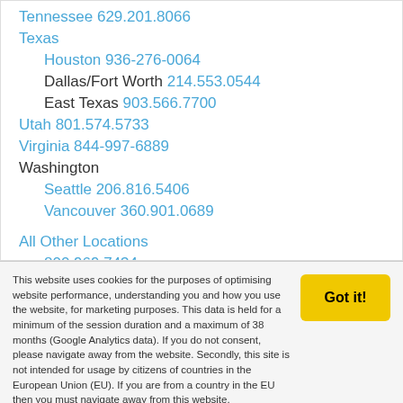Tennessee 629.201.8066
Texas
Houston 936-276-0064
Dallas/Fort Worth 214.553.0544
East Texas 903.566.7700
Utah 801.574.5733
Virginia 844-997-6889
Washington
Seattle 206.816.5406
Vancouver 360.901.0689
All Other Locations
800.969.7434
This website uses cookies for the purposes of optimising website performance, understanding you and how you use the website, for marketing purposes. This data is held for a minimum of the session duration and a maximum of 38 months (Google Analytics data). If you do not consent, please navigate away from the website. Secondly, this site is not intended for usage by citizens of countries in the European Union (EU). If you are from a country in the EU then you must navigate away from this website.